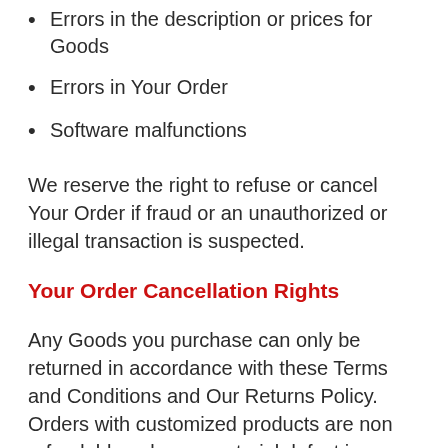Errors in the description or prices for Goods
Errors in Your Order
Software malfunctions
We reserve the right to refuse or cancel Your Order if fraud or an unauthorized or illegal transaction is suspected.
Your Order Cancellation Rights
Any Goods you purchase can only be returned in accordance with these Terms and Conditions and Our Returns Policy.  Orders with customized products are non refundable unless a material defect is found.
Our Returns Policy forms a part of these Terms and Conditions. Please see our Returns Poli...